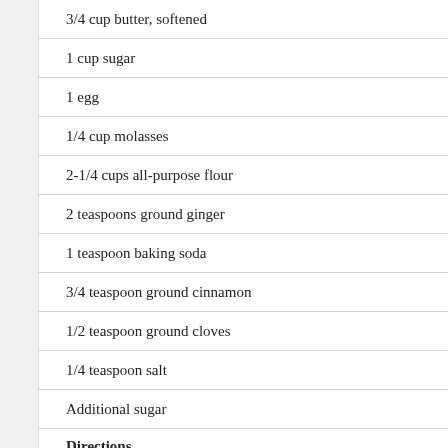3/4 cup butter, softened
1 cup sugar
1 egg
1/4 cup molasses
2-1/4 cups all-purpose flour
2 teaspoons ground ginger
1 teaspoon baking soda
3/4 teaspoon ground cinnamon
1/2 teaspoon ground cloves
1/4 teaspoon salt
Additional sugar
Directions